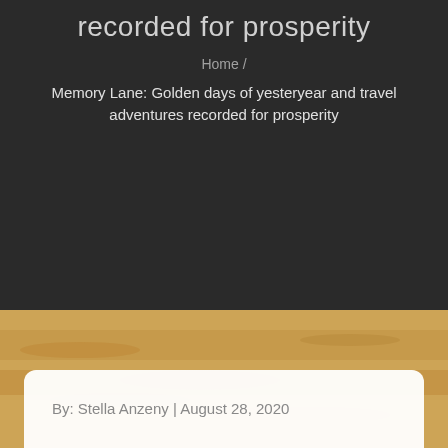recorded for prosperity
Home /
Memory Lane: Golden days of yesteryear and travel adventures recorded for prosperity
[Figure (photo): Sandy desert or beach texture with golden sand grains visible]
By: Stella Anzeny | August 28, 2020